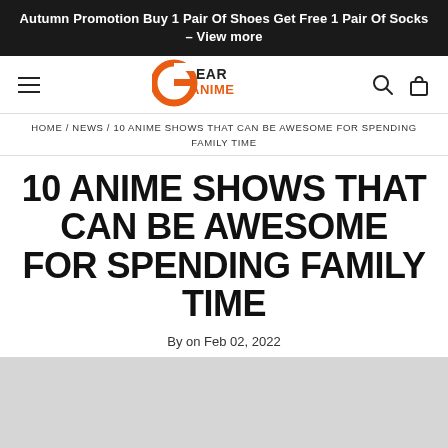Autumn Promotion Buy 1 Pair Of Shoes Get Free 1 Pair Of Socks – View more
[Figure (logo): Gear Anime logo with stylized orange G and black text EAR ANIME]
HOME / NEWS / 10 ANIME SHOWS THAT CAN BE AWESOME FOR SPENDING FAMILY TIME
10 ANIME SHOWS THAT CAN BE AWESOME FOR SPENDING FAMILY TIME
By on Feb 02, 2022
[Figure (photo): Light gray image placeholder area]